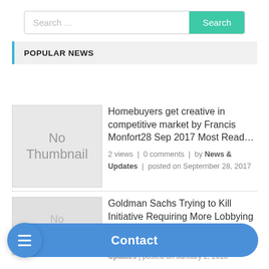[Figure (screenshot): Search bar with placeholder text 'Search ...' and a teal 'Search' button]
POPULAR NEWS
[Figure (illustration): No Thumbnail placeholder image]
Homebuyers get creative in competitive market by Francis Monfort28 Sep 2017 Most Read... 2 views | 0 comments | by News & Updates | posted on September 28, 2017
[Figure (illustration): No Thumbnail placeholder image (partially visible)]
Goldman Sachs Trying to Kill Initiative Requiring More Lobbying Disclosure ... Updates | posted on January 2, 2018
[Figure (screenshot): Floating blue contact bar with hamburger menu button and 'Contact' label]